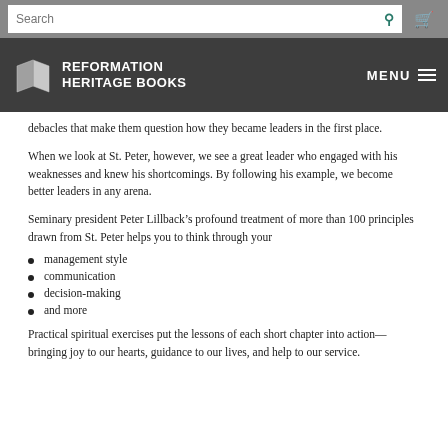Search [search bar] [cart icon]
[Figure (logo): Reformation Heritage Books logo with open book icon and site navigation menu button]
debacles that make them question how they became leaders in the first place.
When we look at St. Peter, however, we see a great leader who engaged with his weaknesses and knew his shortcomings. By following his example, we become better leaders in any arena.
Seminary president Peter Lillback’s profound treatment of more than 100 principles drawn from St. Peter helps you to think through your
management style
communication
decision-making
and more
Practical spiritual exercises put the lessons of each short chapter into action—bringing joy to our hearts, guidance to our lives, and help to our service.